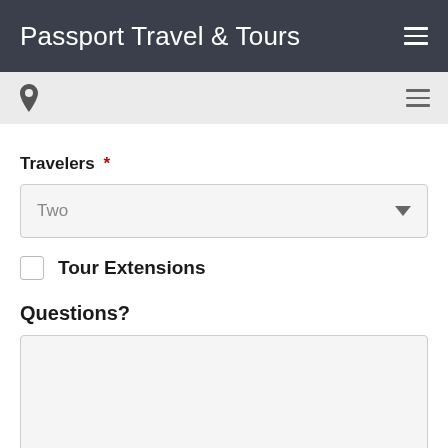Passport Travel & Tours
Travelers *
Two
Tour Extensions
Questions?